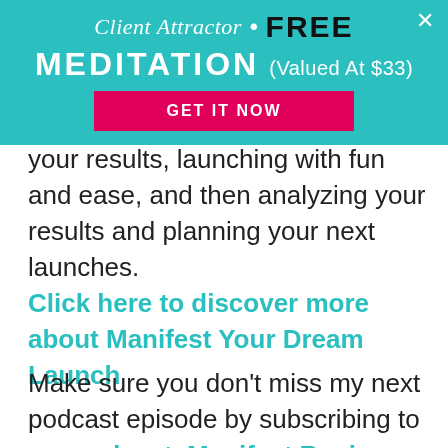[Figure (screenshot): Teal banner with 'Client Attractor • FREE MEDITATION (Valued At $33)' header and pink 'GET IT NOW' button, with an X close button in the top right corner.]
your results, launching with fun and ease, and then analyzing your results and planning your next launches.
Click here to discover more about Manifest Your Dream Launch
Make sure you don't miss my next podcast episode by subscribing to my podcast, Manifest Business Success, so you don't